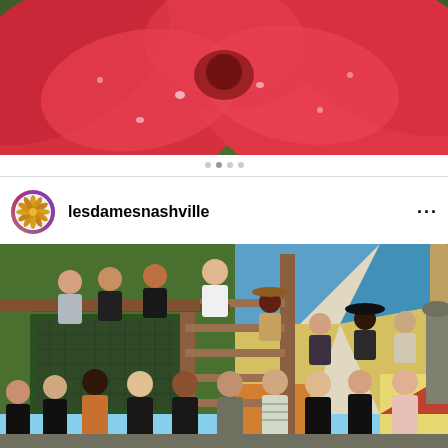[Figure (photo): Close-up photo of red/pink flower petals with water droplets, vibrant coral and red colors against a green blurred background]
[Figure (illustration): Instagram story progress dots — four small grey circles centered below the flower photo]
[Figure (logo): Instagram profile avatar for lesdamesnashville — circular rainbow gradient border with a fan/shell logo inside]
lesdamesnashville
...
[Figure (photo): Group photo of approximately 17 women posing on and around a wooden staircase outside a building with a colorful mural (blue, yellow, red geometric shapes) on the wall. Women are in two rows — some on an upper deck leaning on a railing, others standing on staircase steps, and a front row at ground level. Various outfits including casual and business casual attire.]